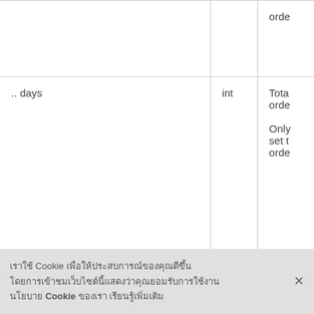| Field | Type | Description |
| --- | --- | --- |
|  |  | orde |
| .. days | int | Tota
orde
Only
set t
orde |
| .. custom_expiration_date | string | Exp
orde
Only
cust
the v |
| disable_renewal_notifications | bool | Whe |
Cookie [Thai text] Cookie [Thai text]